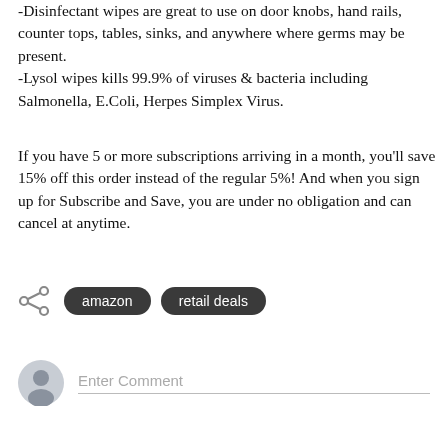-Disinfectant wipes are great to use on door knobs, hand rails, counter tops, tables, sinks, and anywhere where germs may be present.
-Lysol wipes kills 99.9% of viruses & bacteria including Salmonella, E.Coli, Herpes Simplex Virus.
If you have 5 or more subscriptions arriving in a month, you'll save 15% off this order instead of the regular 5%! And when you sign up for Subscribe and Save, you are under no obligation and can cancel at anytime.
amazon
retail deals
Enter Comment